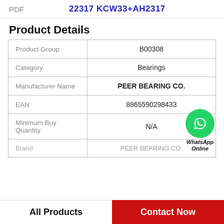PDF   22317 KCW33+AH2317
Product Details
| Field | Value |
| --- | --- |
| Product Group | B00308 |
| Category | Bearings |
| Manufacturer Name | PEER BEARING CO. |
| EAN | 8865590298433 |
| Minimum Buy Quantity | N/A |
| Brand | PEER BEARING CO. |
[Figure (logo): WhatsApp Online green phone bubble icon with text 'WhatsApp Online']
All Products
Contact Now